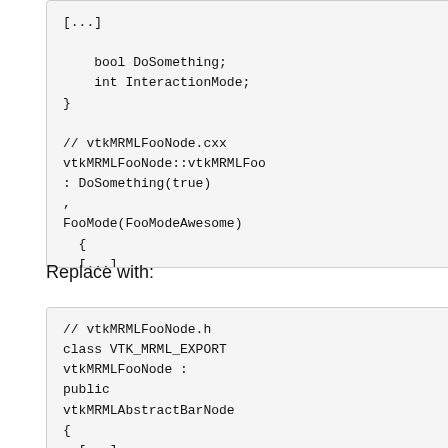[...]
    bool DoSomething;
    int InteractionMode;
}

// vtkMRMLFooNode.cxx
vtkMRMLFooNode::vtkMRMLFoo
: DoSomething(true)
,
FooMode(FooModeAwesome)
  {
  [...]
  }
Replace with:
// vtkMRMLFooNode.h
class VTK_MRML_EXPORT
vtkMRMLFooNode :
public
vtkMRMLAbstractBarNode
{
  [...]